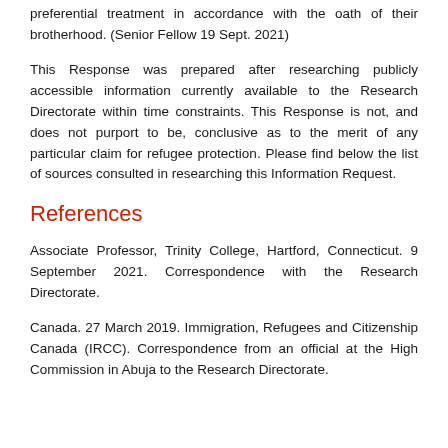preferential treatment in accordance with the oath of their brotherhood. (Senior Fellow 19 Sept. 2021)
This Response was prepared after researching publicly accessible information currently available to the Research Directorate within time constraints. This Response is not, and does not purport to be, conclusive as to the merit of any particular claim for refugee protection. Please find below the list of sources consulted in researching this Information Request.
References
Associate Professor, Trinity College, Hartford, Connecticut. 9 September 2021. Correspondence with the Research Directorate.
Canada. 27 March 2019. Immigration, Refugees and Citizenship Canada (IRCC). Correspondence from an official at the High Commission in Abuja to the Research Directorate.